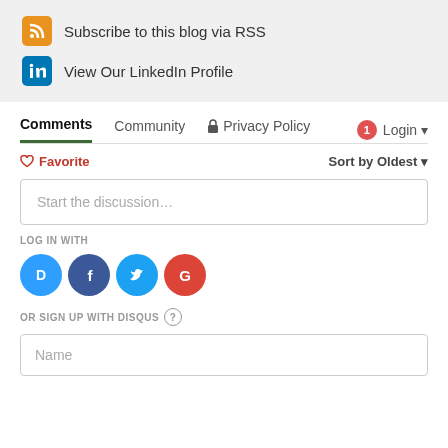Subscribe to this blog via RSS
View Our LinkedIn Profile
Comments  Community  Privacy Policy  Login
Favorite  Sort by Oldest
Start the discussion…
LOG IN WITH
[Figure (infographic): Social login icons: Disqus (D), Facebook (f), Twitter bird, Google (G)]
OR SIGN UP WITH DISQUS
Name